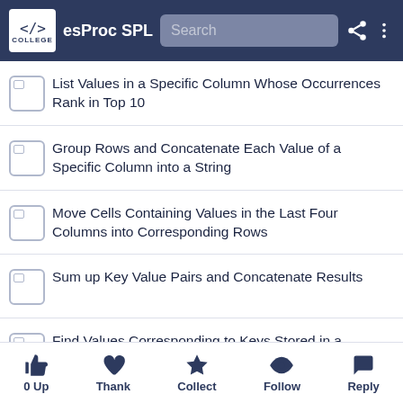esProc SPL
List Values in a Specific Column Whose Occurrences Rank in Top 10
Group Rows and Concatenate Each Value of a Specific Column into a String
Move Cells Containing Values in the Last Four Columns into Corresponding Rows
Sum up Key Value Pairs and Concatenate Results
Find Values Corresponding to Keys Stored in a Specific Cell
Remove Duplicates from Each Numeric String, Sort Digits, and Concatenate Them
0 Up   Thank   Collect   Follow   Reply